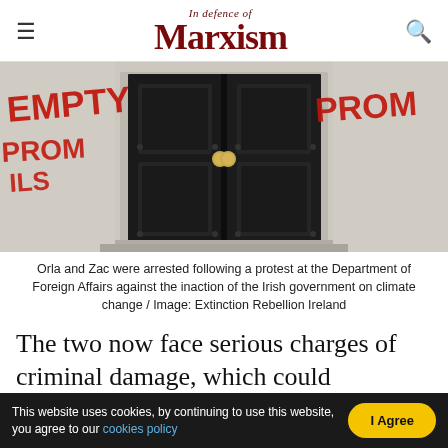In defence of Marxism
[Figure (photo): Black double doors of a government building with red graffiti spray-painted on white stone walls on either side, reading partial words including 'EMPTY', 'PROMS', 'FROM'.]
Orla and Zac were arrested following a protest at the Department of Foreign Affairs against the inaction of the Irish government on climate change / Image: Extinction Rebellion Ireland
The two now face serious charges of criminal damage, which could potentially include custodial sentences. We believe this outrageous prosecution
This website uses cookies, by continuing to use this website, you agree to our cookies policy